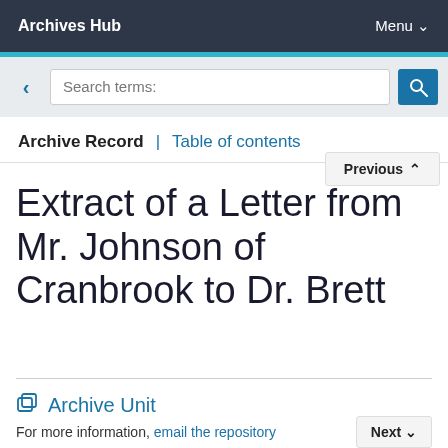Archives Hub | Menu
Archive Record | Table of contents
Extract of a Letter from Mr. Johnson of Cranbrook to Dr. Brett
Archive Unit
For more information, email the repository